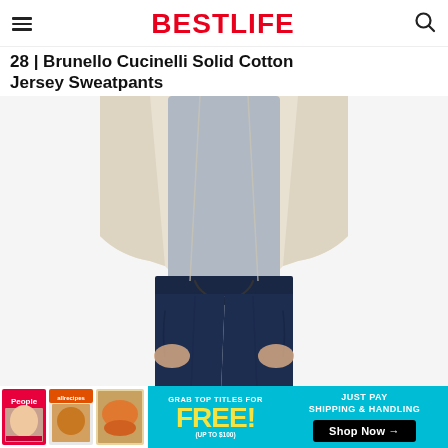BESTLIFE
28 | Brunello Cucinelli Solid Cotton Jersey Sweatpants
[Figure (photo): Close-up photo of a person wearing navy blue Brunello Cucinelli Solid Cotton Jersey Sweatpants with a drawstring waist, hands in front pockets, wearing a cream/ivory open cardigan over a light blue shirt. Only the torso and legs are visible.]
[Figure (infographic): Advertisement banner with cyan/teal background. Left side shows People and allrecipes magazine covers along with food images. Center text reads: GRAB TOP TITLES FOR FREE! (UP TO $100). Right side reads: JUST PAY SHIPPING & HANDLING with a black Shop Now → button.]